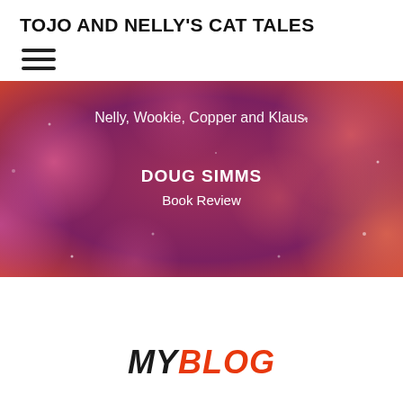TOJO AND NELLY'S CAT TALES
[Figure (illustration): Hamburger menu icon with three horizontal lines]
[Figure (illustration): Hero banner with bokeh/blurred lights background in purple, pink and coral tones. Contains text: 'Nelly, Wookie, Copper and Klaus.' and 'DOUG SIMMS' and 'Book Review']
Nelly, Wookie, Copper and Klaus.
DOUG SIMMS
Book Review
MY BLOG